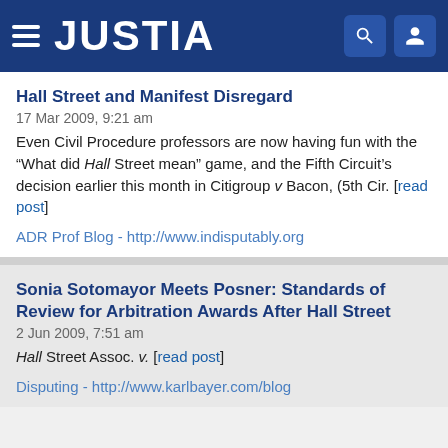JUSTIA
Hall Street and Manifest Disregard
17 Mar 2009, 9:21 am
Even Civil Procedure professors are now having fun with the “What did Hall Street mean” game, and the Fifth Circuit’s decision earlier this month in Citigroup v Bacon, (5th Cir. [read post]
ADR Prof Blog - http://www.indisputably.org
Sonia Sotomayor Meets Posner: Standards of Review for Arbitration Awards After Hall Street
2 Jun 2009, 7:51 am
Hall Street Assoc. v. [read post]
Disputing - http://www.karlbayer.com/blog